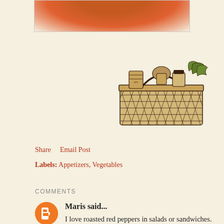[Figure (photo): Top portion of a photo showing roasted red peppers, cropped at the bottom, visible at the top of the page]
[Figure (illustration): Black and white line illustration of a wicker picnic basket filled with food items including cans, jars, and vegetables]
Share    Email Post
Labels: Appetizers, Vegetables
COMMENTS
Maris said...
I love roasted red peppers in salads or sandwiches. Interesting that they produce their